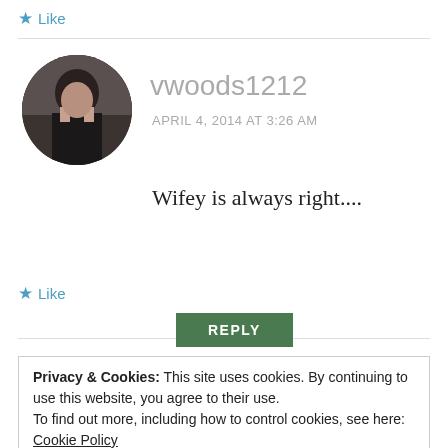★ Like
[Figure (photo): Circular avatar photo of a person]
vwoods1212
APRIL 4, 2014 AT 3:26 AM
Wifey is always right....
★ Like
REPLY
Privacy & Cookies: This site uses cookies. By continuing to use this website, you agree to their use.
To find out more, including how to control cookies, see here: Cookie Policy
Close and accept
Of course! 😉